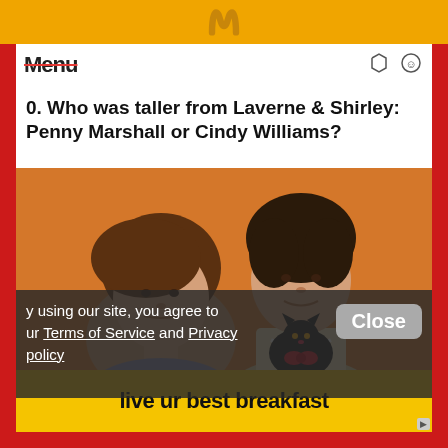[Figure (logo): McDonald's golden arches logo on yellow bar at top]
[Figure (screenshot): Partial website navigation bar with logo text crossed out and icons]
0. Who was taller from Laverne & Shirley: Penny Marshall or Cindy Williams?
[Figure (photo): Two women from the TV show Laverne & Shirley posed against an orange background. One woman on the right holds a black cat with a red bow. A dark semi-transparent overlay appears at the bottom with a cookie consent message and Close button.]
y using our site, you agree to ur Terms of Service and Privacy policy
Close
live ur best breakfast